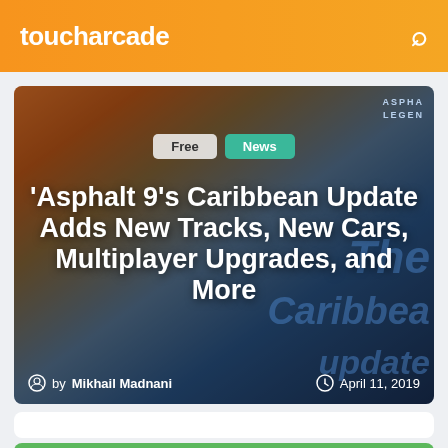toucharcade
[Figure (screenshot): Asphalt 9 Caribbean Update article hero image showing racing cars on a coastal road with the Caribbean Update logo text overlay. Tags 'Free' and 'News' appear at top. Author: Mikhail Madnani, Date: April 11, 2019.]
'Asphalt 9's Caribbean Update Adds New Tracks, New Cars, Multiplayer Upgrades, and More
by Mikhail Madnani · April 11, 2019